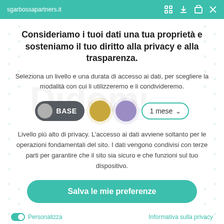sgarbossapartners.it
Consideriamo i tuoi dati una tua proprietà e sosteniamo il tuo diritto alla privacy e alla trasparenza.
Seleziona un livello e una durata di accesso ai dati, per scegliere la modalità con cui li utilizzeremo e li condivideremo.
[Figure (infographic): Privacy level selector row with BASE toggle pill (dark grey with circle toggle), gold circle, purple circle, and 1 mese dropdown pill with teal border and chevron]
Livello più alto di privacy. L'accesso ai dati avviene soltanto per le operazioni fondamentali del sito. I dati vengono condivisi con terze parti per garantire che il sito sia sicuro e che funzioni sul tuo dispositivo.
Salva le mie preferenze
Personalizza
Informativa sulla privacy